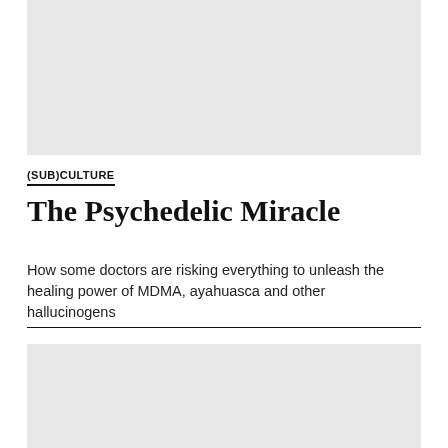[Figure (photo): Top image placeholder — gray rectangle]
(SUB)CULTURE
The Psychedelic Miracle
How some doctors are risking everything to unleash the healing power of MDMA, ayahuasca and other hallucinogens
[Figure (photo): Bottom image placeholder — gray rectangle]